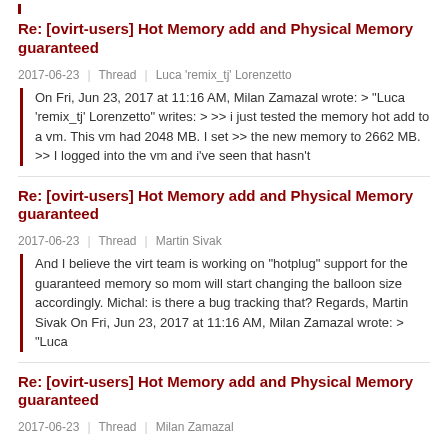Re: [ovirt-users] Hot Memory add and Physical Memory guaranteed
2017-06-23 | Thread | Luca 'remix_tj' Lorenzetto
On Fri, Jun 23, 2017 at 11:16 AM, Milan Zamazal wrote: > "Luca 'remix_tj' Lorenzetto" writes: > >> i just tested the memory hot add to a vm. This vm had 2048 MB. I set >> the new memory to 2662 MB. >> I logged into the vm and i've seen that hasn't
Re: [ovirt-users] Hot Memory add and Physical Memory guaranteed
2017-06-23 | Thread | Martin Sivak
And I believe the virt team is working on "hotplug" support for the guaranteed memory so mom will start changing the balloon size accordingly. Michal: is there a bug tracking that? Regards, Martin Sivak On Fri, Jun 23, 2017 at 11:16 AM, Milan Zamazal wrote: > "Luca
Re: [ovirt-users] Hot Memory add and Physical Memory guaranteed
2017-06-23 | Thread | Milan Zamazal